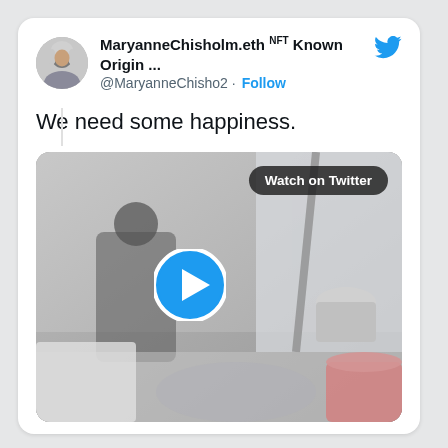[Figure (screenshot): Twitter/X post screenshot showing user MaryanneChisholm.eth NFT Known Origin... with handle @MaryanneChisho2, a Follow button, a Twitter bird logo, profile photo of a woman, tweet text 'We need some happiness.' and a video thumbnail with Watch on Twitter badge and play button.]